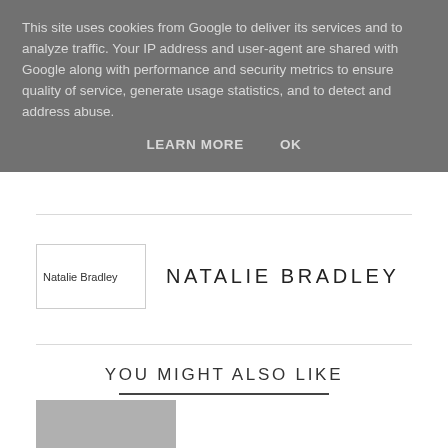This site uses cookies from Google to deliver its services and to analyze traffic. Your IP address and user-agent are shared with Google along with performance and security metrics to ensure quality of service, generate usage statistics, and to detect and address abuse.
LEARN MORE   OK
NATALIE BRADLEY
YOU MIGHT ALSO LIKE
[Figure (photo): Partial thumbnail image at bottom left]